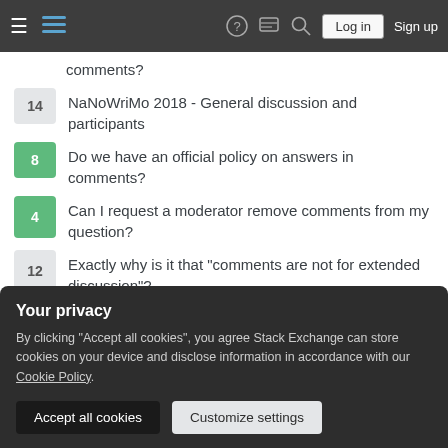Stack Exchange navigation bar with hamburger menu, logo, help, chat, search, Log in, Sign up
comments?
14 NaNoWriMo 2018 - General discussion and participants
8 Do we have an official policy on answers in comments?
4 Can I request a moderator remove comments from my question?
12 Exactly why is it that "comments are not for extended discussion"?
Hot Network Questions
Difference between a good player and an average player?
Your privacy
By clicking "Accept all cookies", you agree Stack Exchange can store cookies on your device and disclose information in accordance with our Cookie Policy.
Accept all cookies   Customize settings